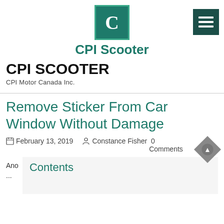[Figure (logo): CPI Scooter logo: green square with white letter C]
CPI Scooter
CPI SCOOTER
CPI Motor Canada Inc.
Remove Sticker From Car Window Without Damage
February 13, 2019   Constance Fisher   0 Comments
Ano
Contents